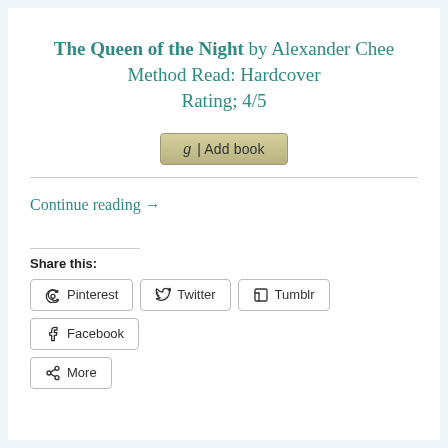The Queen of the Night by Alexander Chee
Method Read: Hardcover
Rating; 4/5
[Figure (screenshot): Goodreads 'Add book' button with 'g | Add book' label]
Continue reading →
Share this:
Pinterest   Twitter   Tumblr   Facebook   More